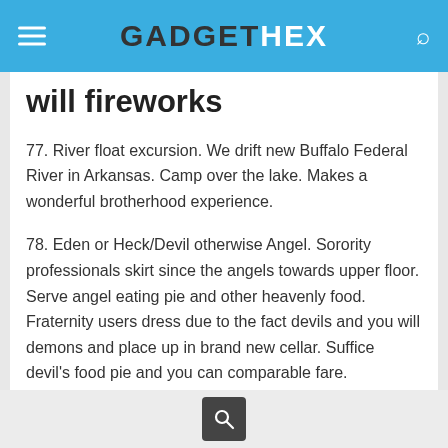GADGETHEX
will fireworks
77. River float excursion. We drift new Buffalo Federal River in Arkansas. Camp over the lake. Makes a wonderful brotherhood experience.
78. Eden or Heck/Devil otherwise Angel. Sorority professionals skirt since the angels towards upper floor. Serve angel eating pie and other heavenly food. Fraternity users dress due to the fact devils and you will demons and place up in brand new cellar. Suffice devil's food pie and you can comparable fare.